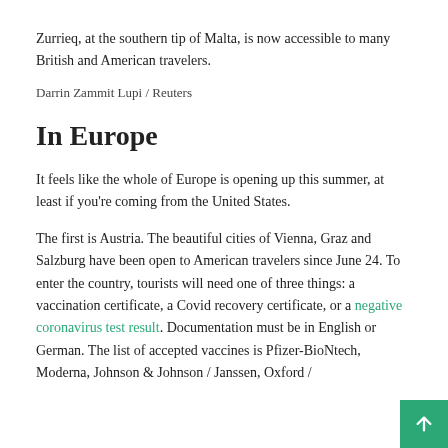Zurrieq, at the southern tip of Malta, is now accessible to many British and American travelers.
Darrin Zammit Lupi / Reuters
In Europe
It feels like the whole of Europe is opening up this summer, at least if you're coming from the United States.
The first is Austria. The beautiful cities of Vienna, Graz and Salzburg have been open to American travelers since June 24. To enter the country, tourists will need one of three things: a vaccination certificate, a Covid recovery certificate, or a negative coronavirus test result. Documentation must be in English or German. The list of accepted vaccines is Pfizer-BioNtech, Moderna, Johnson & Johnson / Janssen, Oxford / AstraZeneca, Sputnik, or Sinopharm.